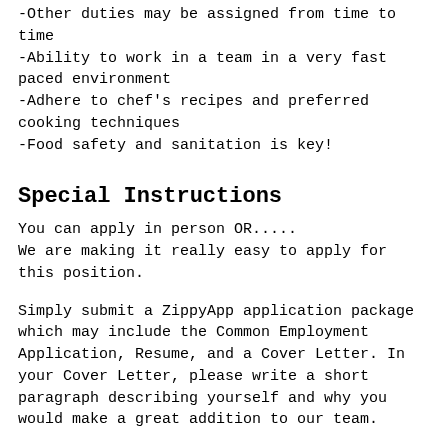-Other duties may be assigned from time to time
-Ability to work in a team in a very fast paced environment
-Adhere to chef's recipes and preferred cooking techniques
-Food safety and sanitation is key!
Special Instructions
You can apply in person OR.....
We are making it really easy to apply for this position.
Simply submit a ZippyApp application package which may include the Common Employment Application, Resume, and a Cover Letter. In your Cover Letter, please write a short paragraph describing yourself and why you would make a great addition to our team.
Remember to check the check the check the check yourself...